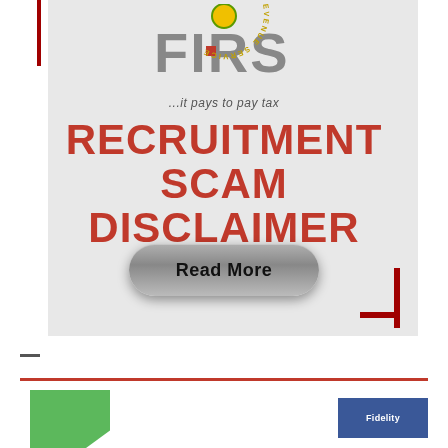[Figure (logo): FIRS (Federal Inland Revenue Service) recruitment scam disclaimer banner with logo, tagline '...it pays to pay tax', bold red text reading 'RECRUITMENT SCAM DISCLAIMER', a grey Read More button, and red corner bracket decoration on grey background.]
[Figure (logo): Partially visible green geometric shape and blue logo at bottom of page, with a red horizontal divider line above.]